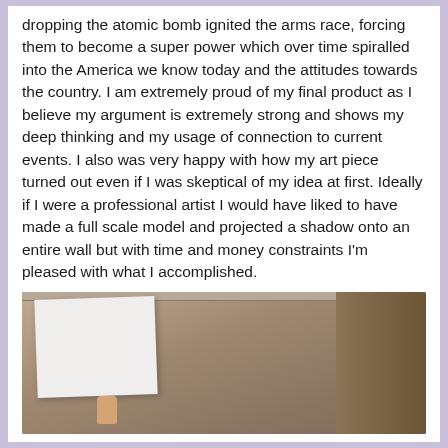dropping the atomic bomb ignited the arms race, forcing them to become a super power which over time spiralled into the America we know today and the attitudes towards the country. I am extremely proud of my final product as I believe my argument is extremely strong and shows my deep thinking and my usage of connection to current events. I also was very happy with how my art piece turned out even if I was skeptical of my idea at first. Ideally if I were a professional artist I would have liked to have made a full scale model and projected a shadow onto an entire wall but with time and money constraints I'm pleased with what I accomplished.
[Figure (photo): A photograph showing a white piece of paper or canvas propped up against a cardboard box, with a thumb visible at the bottom holding it. The setting appears to be indoors with cardboard/brown materials in the background.]